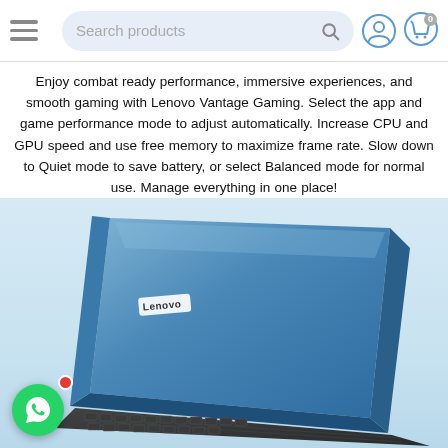Search products
Enjoy combat ready performance, immersive experiences, and smooth gaming with Lenovo Vantage Gaming. Select the app and game performance mode to adjust automatically. Increase CPU and GPU speed and use free memory to maximize frame rate. Slow down to Quiet mode to save battery, or select Balanced mode for normal use. Manage everything in one place!
[Figure (photo): Lenovo IdeaPad Gaming laptop in blue/slate color, shown from rear-left angle with lid open slightly, keyboard visible at bottom, Lenovo logo on lid. WhatsApp contact button with red notification dot in lower left corner.]